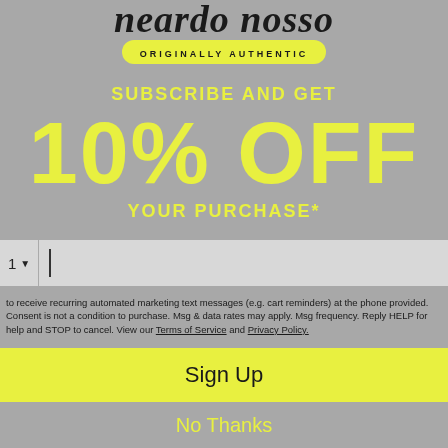[Figure (logo): Cursive brand logo 'neardo nosso' with 'ORIGINALLY AUTHENTIC' badge in yellow pill shape]
SUBSCRIBE AND GET
10% OFF
YOUR PURCHASE*
1 ▼ | (phone input field)
to receive recurring automated marketing text messages (e.g. cart reminders) at the phone provided. Consent is not a condition to purchase. Msg & data rates may apply. Msg frequency. Reply HELP for help and STOP to cancel. View our Terms of Service and Privacy Policy.
Sign Up
No Thanks